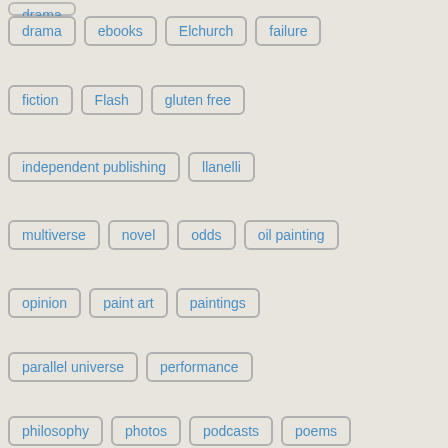drama
ebooks
Elchurch
failure
fiction
Flash
gluten free
independent publishing
llanelli
multiverse
novel
odds
oil painting
opinion
paint art
paintings
parallel universe
performance
philosophy
photos
podcasts
poems
poetry
recession
recipe
script
short stories
short story
soap opera
theatre
Time
tv scripts
vegan
video